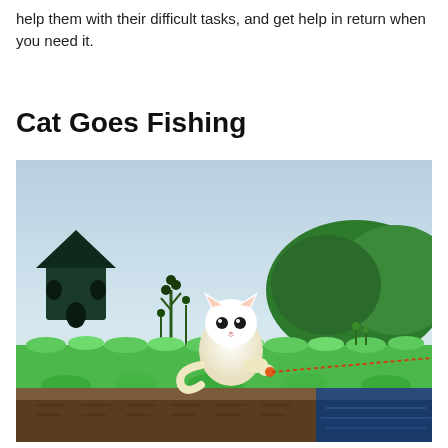help them with their difficult tasks, and get help in return when you need it.
Cat Goes Fishing
[Figure (illustration): Screenshot from the game 'Cat Goes Fishing' showing a cute white cartoon cat holding a fishing rod with an orange line extending to the right, standing on green grass with stylized plants, a dark house in the background, green trees, and a blue water area at the bottom right.]